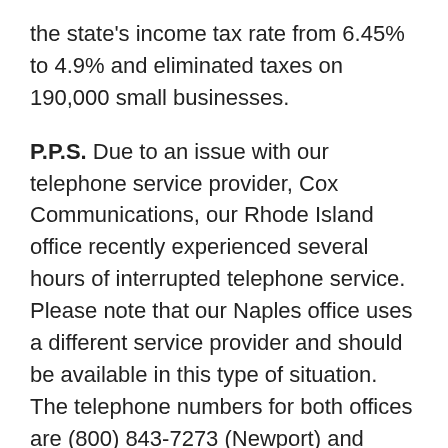the state's income tax rate from 6.45% to 4.9% and eliminated taxes on 190,000 small businesses.
P.P.S. Due to an issue with our telephone service provider, Cox Communications, our Rhode Island office recently experienced several hours of interrupted telephone service. Please note that our Naples office uses a different service provider and should be available in this type of situation. The telephone numbers for both offices are (800) 843-7273 (Newport) and (888) 456-5444 (Naples). Also, when one of our offices is unavailable, we will update our website, www.younginvestments, with